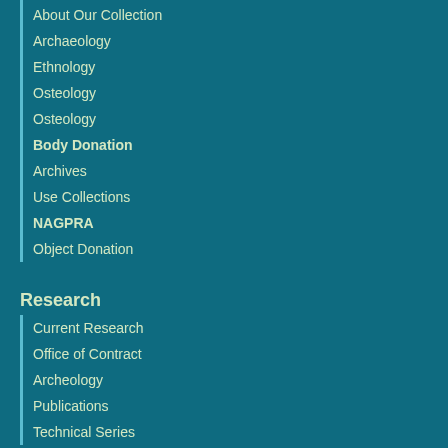About Our Collection
Archaeology
Ethnology
Osteology
Osteology
Body Donation
Archives
Use Collections
NAGPRA
Object Donation
Research
Current Research
Office of Contract
Archeology
Publications
Technical Series
News & Events
News & Events